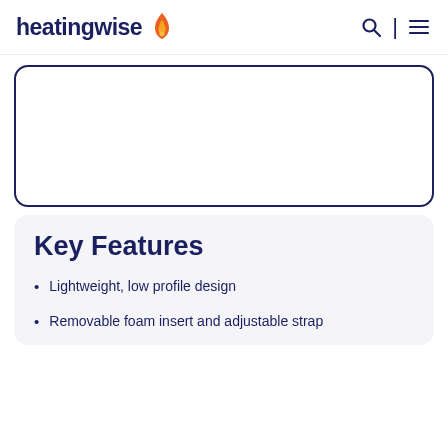heatingwise
[Figure (other): White rectangular card with rounded corners and a dark navy blue border, containing an empty white area (product image placeholder).]
Key Features
Lightweight, low profile design
Removable foam insert and adjustable strap